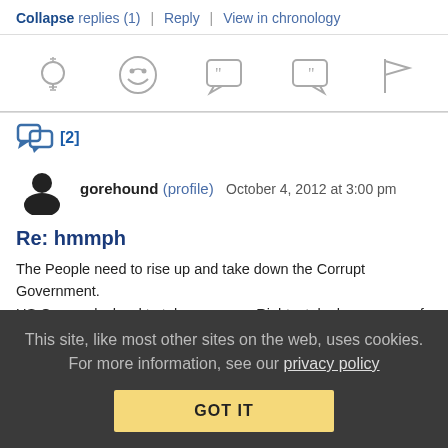Collapse replies (1) | Reply | View in chronology
[Figure (infographic): Row of 5 gray icons: lightbulb, laughing face, open-quote speech bubble, close-quote speech bubble, flag]
[Figure (other): Thread/reply icon with [2] label]
gorehound (profile)  October 4, 2012 at 3:00 pm
Re: hmmph
The People need to rise up and take down the Corrupt Government.
US Gov works hard to take away our Rights, take huge sums of
This site, like most other sites on the web, uses cookies. For more information, see our privacy policy
GOT IT